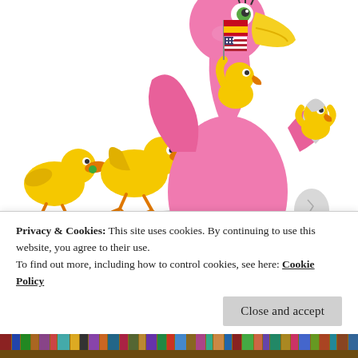[Figure (illustration): Colorful cartoon illustration of a large pink bird (flamingo-like) with a yellow beak, surrounded by small yellow ducklings/chicks. One chick sits on the pink bird's back holding Spanish and American flags. Another chick hatches from an egg on the bird's wing. Two more ducklings walk beside the bird. A grey egg sits to the right. The group stands on a grey oval shadow.]
NESTING IN CHICAGO
Privacy & Cookies: This site uses cookies. By continuing to use this website, you agree to their use.
To find out more, including how to control cookies, see here: Cookie Policy
Close and accept